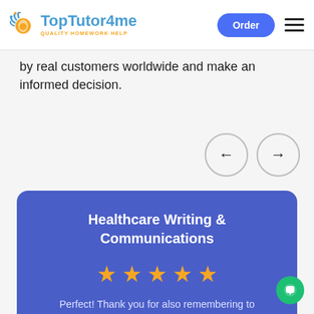TopTutor4me — QUALITY HOMEWORK HELP | Order | Menu
by real customers worldwide and make an informed decision.
[Figure (other): Left and right navigation arrow buttons in circular outlines for scrolling through reviews]
[Figure (infographic): Review card with blue background showing: Healthcare Writing & Communications, 5 star rating, and partial review text: Perfect! Thank you for also remembering to]
Perfect! Thank you for also remembering to